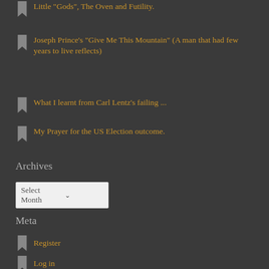Little "Gods", The Oven and Futility.
Joseph Prince's "Give Me This Mountain" (A man that had few years to live reflects)
What I learnt from Carl Lentz's failing ...
My Prayer for the US Election outcome.
Archives
Select Month
Meta
Register
Log in
Entries feed